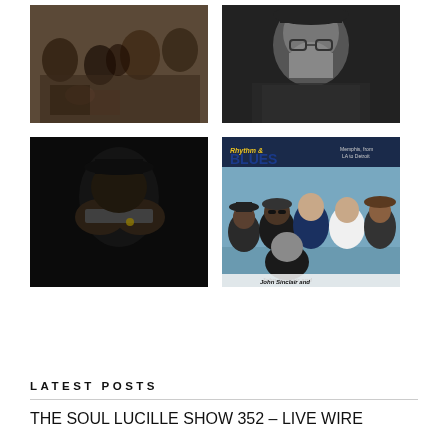[Figure (photo): Group of people sitting in a lounge/bar setting, color photo]
[Figure (photo): Black and white close-up portrait of an older bearded man wearing a hat]
[Figure (photo): Dark close-up photo of a person playing harmonica, hands covering face]
[Figure (photo): Rhythm & Blues magazine cover showing a group of five people outdoors, with text 'John Sinclair and' at bottom]
LATEST POSTS
THE SOUL LUCILLE SHOW 352 – LIVE WIRE